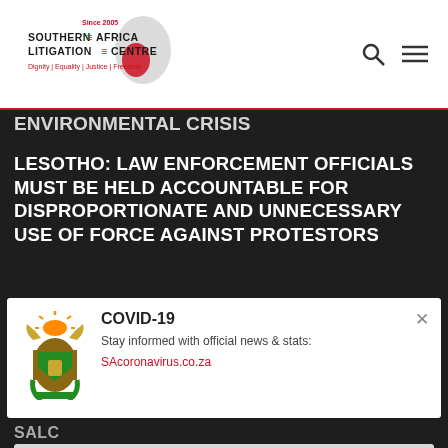[Figure (logo): Southern Africa Litigation Centre logo with Africa map silhouette, red heart, text 'Since 2005', 'SOUTHERN AFRICA LITIGATION CENTRE', 'Dignity | Equality | Justice | Freedom']
ENVIRONMENTAL CRISIS
LESOTHO: LAW ENFORCEMENT OFFICIALS MUST BE HELD ACCOUNTABLE FOR DISPROPORTIONATE AND UNNECESSARY USE OF FORCE AGAINST PROTESTORS
[Figure (infographic): COVID-19 popup overlay with South African coat of arms emblem, title COVID-19, text 'Stay informed with official news & stats:', link 'SAcoronavirus.co.za', and close X button]
SALC
SIGN UP